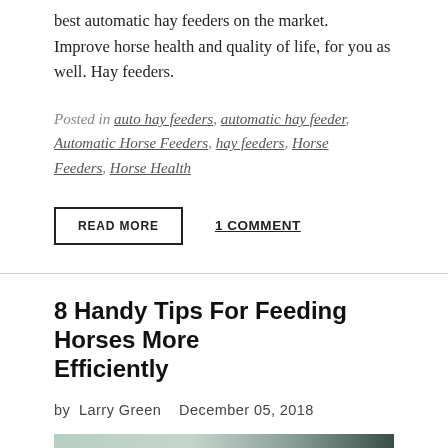best automatic hay feeders on the market. Improve horse health and quality of life, for you as well. Hay feeders.
Posted in auto hay feeders, automatic hay feeder, Automatic Horse Feeders, hay feeders, Horse Feeders, Horse Health
READ MORE   1 COMMENT
8 Handy Tips For Feeding Horses More Efficiently
by Larry Green   December 05, 2018
[Figure (photo): Partial image strip at bottom of page showing horses or horse feeding scene]